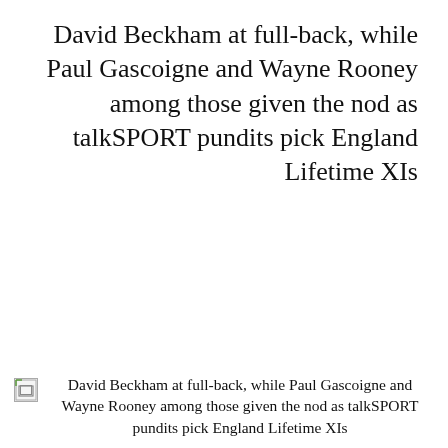David Beckham at full-back, while Paul Gascoigne and Wayne Rooney among those given the nod as talkSPORT pundits pick England Lifetime XIs
[Figure (photo): Broken image placeholder with alt text describing David Beckham at full-back article]
David Beckham at full-back, while Paul Gascoigne and Wayne Rooney among those given the nod as talkSPORT pundits pick England Lifetime XIs